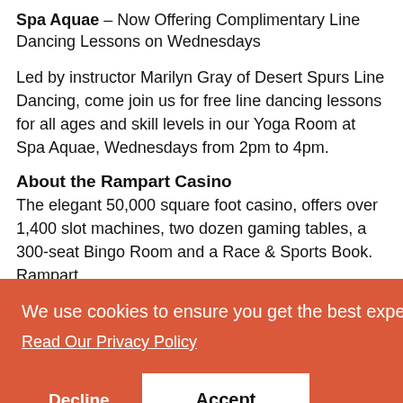Spa Aquae – Now Offering Complimentary Line Dancing Lessons on Wednesdays
Led by instructor Marilyn Gray of Desert Spurs Line Dancing, come join us for free line dancing lessons for all ages and skill levels in our Yoga Room at Spa Aquae, Wednesdays from 2pm to 4pm.
About the Rampart Casino
The elegant 50,000 square foot casino, offers over 1,400 slot machines, two dozen gaming tables, a 300-seat Bingo Room and a Race & Sports Book. Rampart [lusive s y room . For ook
[Figure (screenshot): Cookie consent overlay banner in orange/red color with text 'We use cookies to ensure you get the best experience on our website.' and a 'Read Our Privacy Policy' link, plus Decline and Accept buttons.]
The JW Marriott Las Vegas Resort & Spa offers world-